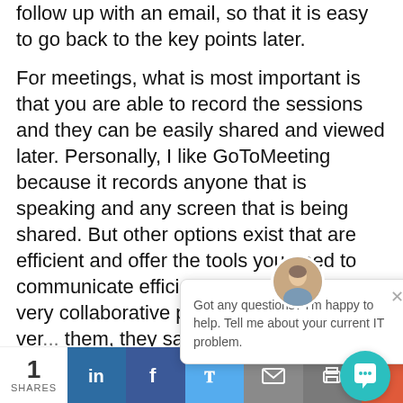follow up with an email, so that it is easy to go back to the key points later.
For meetings, what is most important is that you are able to record the sessions and they can be easily shared and viewed later. Personally, I like GoToMeeting because it records anyone that is speaking and any screen that is being shared. But other options exist that are efficient and offer the tools you need to communicate efficiently. Finally, I am a very collaborative project... When both the ver... them, they save a... project timeline. Ta... for the next meeting. Often, a specific task may need clarification on implementation...
[Figure (screenshot): Chat popup overlay with avatar photo of a man, close button (×), and text: 'Got any questions? I'm happy to help. Tell me about your current IT problem.']
1 SHARES | LinkedIn | Facebook | Twitter | Email | Print